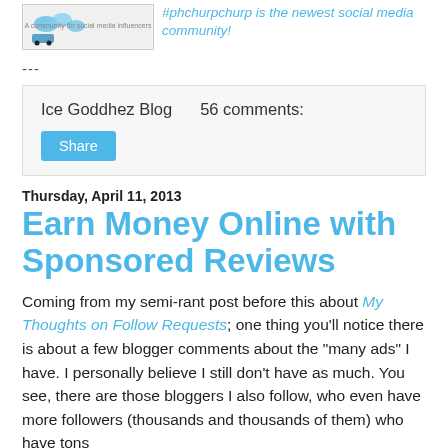[Figure (logo): Blog logo with birds and text 'A community for social media influencers']
#phchurpchurp is the newest social media community!
---
Ice Goddhez Blog    56 comments:
Share
Thursday, April 11, 2013
Earn Money Online with Sponsored Reviews
Coming from my semi-rant post before this about My Thoughts on Follow Requests; one thing you'll notice there is about a few blogger comments about the "many ads" I have. I personally believe I still don't have as much. You see, there are those bloggers I also follow, who even have more followers (thousands and thousands of them) who have tons